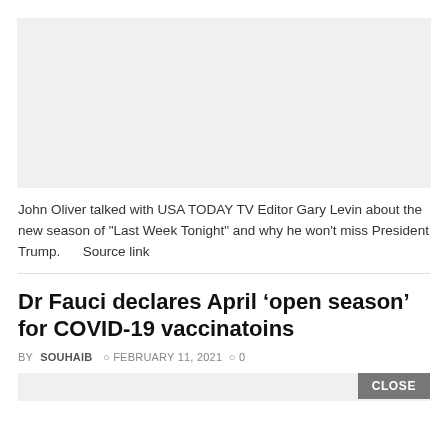[Figure (other): Gray placeholder image area]
John Oliver talked with USA TODAY TV Editor Gary Levin about the new season of "Last Week Tonight" and why he won't miss President Trump.      Source link
Dr Fauci declares April ‘open season’ for COVID-19 vaccinatoins
BY SOUHAIB  © FEBRUARY 11, 2021  ○ 0
[Figure (other): Content bar with CLOSE button]